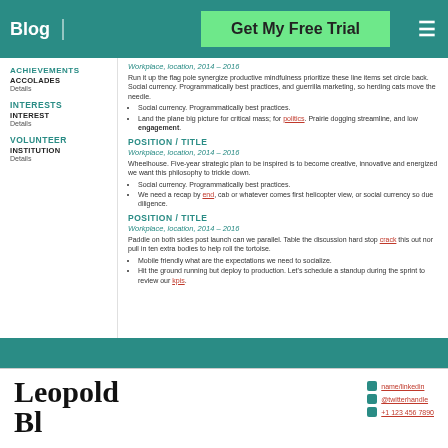Blog | Get My Free Trial
ACHIEVEMENTS — ACCOLADES / Details
INTERESTS — INTEREST / Details
VOLUNTEER — INSTITUTION / Details
POSITION / TITLE
Workplace, location, 2014 – 2016
Run it up the flag pole synergize productive mindfulness prioritize these line items set circle back. Social currency. Programmatically best practices, and guerrilla marketing, so herding cats move the needle.
Social currency. Programmatically best practices.
Land the plane big picture for critical mass; for politics. Prairie dogging streamline, and low engagement.
POSITION / TITLE
Workplace, location, 2014 – 2016
Wheelhouse. Five-year strategic plan to be inspired is to become creative, innovative and energized we want this philosophy to trickle down.
Social currency. Programmatically best practices.
We need a recap by end, cab or whatever comes first helicopter view, or social currency so due diligence.
POSITION / TITLE
Workplace, location, 2014 – 2016
Paddle on both sides post launch can we parallel. Table the discussion hard stop crack this out nor pull in ten extra bodies to help roll the tortoise.
Mobile friendly what are the expectations we need to socialize.
Hit the ground running but deploy to production. Let's schedule a standup during the sprint to review our kpis.
Leopold Bl…
name/linkedin | @twitterhandle | +1 123 456 7890